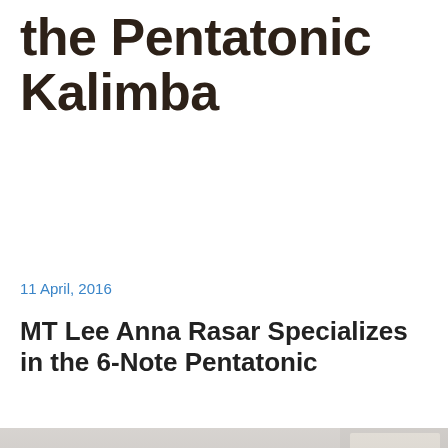the Pentatonic Kalimba
11 April, 2016
MT Lee Anna Rasar Specializes in the 6-Note Pentatonic
[Figure (photo): Classroom of college students sitting at round tables holding and playing small kalimba instruments, smiling and engaged in a music class activity.]